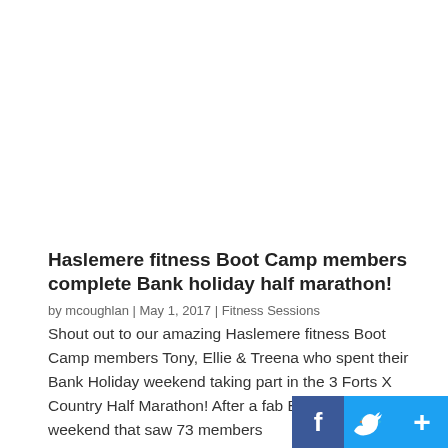Haslemere fitness Boot Camp members complete Bank holiday half marathon!
by mcoughlan | May 1, 2017 | Fitness Sessions
Shout out to our amazing Haslemere fitness Boot Camp members Tony, Ellie & Treena who spent their Bank Holiday weekend taking part in the 3 Forts X Country Half Marathon! After a fab Bank Holiday weekend that saw 73 members [and more]...